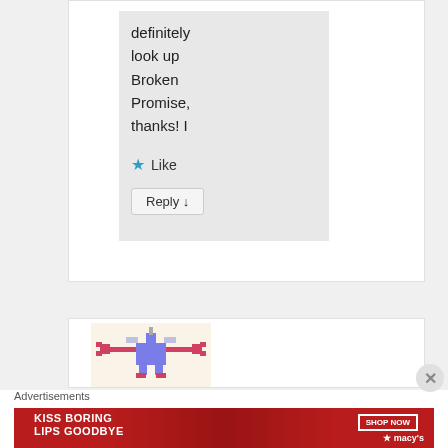definitely look up Broken Promise, thanks! I
Like
Reply ↓
[Figure (screenshot): Pixel art creature - a blue unicorn/lobster hybrid with red claws on beige background]
Advertisements
[Figure (photo): Macy's advertisement banner: KISS BORING LIPS GOODBYE with SHOP NOW button and Macy's star logo on red background with woman's face]